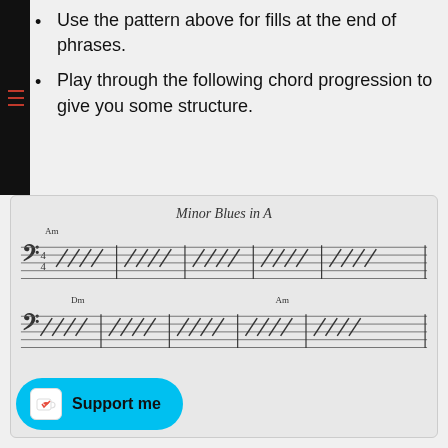Use the pattern above for fills at the end of phrases.
Play through the following chord progression to give you some structure.
[Figure (illustration): Music notation sheet titled 'Minor Blues in A' showing bass clef with slash notation chord progression. First staff has Am chord for 4 bars; second staff shows Dm and Am chords. Overlaid with a 'View in Full Screen' rounded rectangle button in light purple with dark olive border.]
Support me